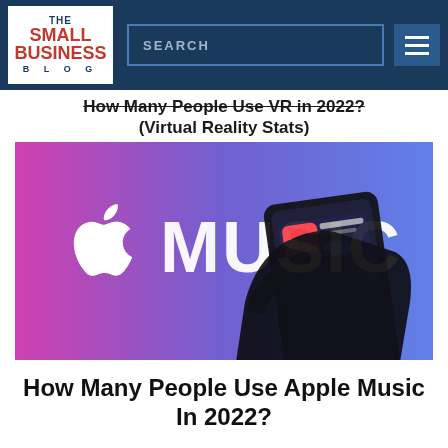THE SMALL BUSINESS BLOG — SEARCH navigation
How Many People Use VR in 2022? (Virtual Reality Stats)
[Figure (photo): A silhouetted hand holding a smartphone showing the Apple Music app download page in the App Store, with a colorful pink-to-blue gradient background displaying the Apple logo and the word MUSIC in large white letters.]
How Many People Use Apple Music In 2022?